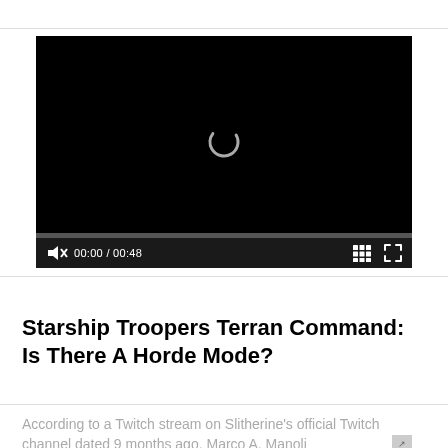[Figure (screenshot): Embedded video player with black screen, loading spinner, progress bar, and playback controls showing 00:00 / 00:48]
Starship Troopers Terran Command: Is There A Horde Mode?
According to a Twitch stream on Slitherine's official Twitch channel dated 9 months ago, Marco A. Manoli